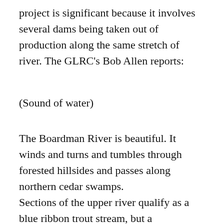project is significant because it involves several dams being taken out of production along the same stretch of river. The GLRC's Bob Allen reports:
(Sound of water)
The Boardman River is beautiful. It winds and turns and tumbles through forested hillsides and passes along northern cedar swamps. Sections of the upper river qualify as a blue ribbon trout stream, but a